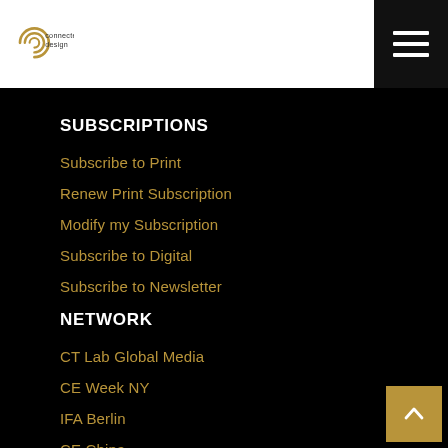[Figure (logo): Connected Design logo — circular spiral graphic with 'connected design' text beside it]
[Figure (other): Black hamburger menu button with three white horizontal lines]
SUBSCRIPTIONS
Subscribe to Print
Renew Print Subscription
Modify my Subscription
Subscribe to Digital
Subscribe to Newsletter
NETWORK
CT Lab Global Media
CE Week NY
IFA Berlin
CE China
Dealerscope